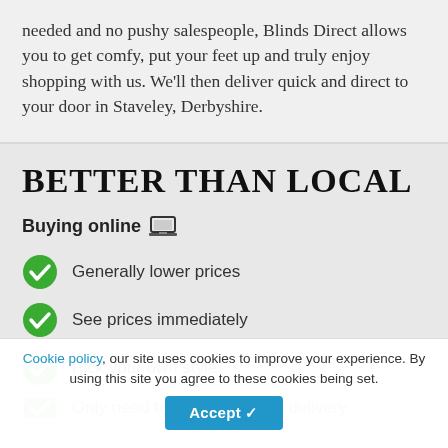needed and no pushy salespeople, Blinds Direct allows you to get comfy, put your feet up and truly enjoy shopping with us. We'll then deliver quick and direct to your door in Staveley, Derbyshire.
BETTER THAN LOCAL
Buying online 🖥
Generally lower prices
See prices immediately
Pick your own style
Only need to be in to accept delivery
Cookie policy, our site uses cookies to improve your experience. By using this site you agree to these cookies being set. Accept ✓